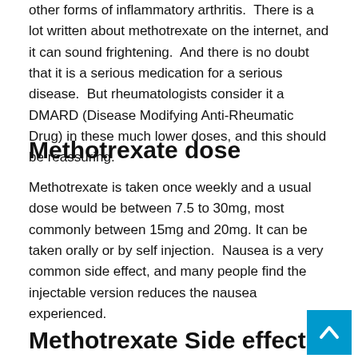other forms of inflammatory arthritis.  There is a lot written about methotrexate on the internet, and it can sound frightening.  And there is no doubt that it is a serious medication for a serious disease.  But rheumatologists consider it a DMARD (Disease Modifying Anti-Rheumatic Drug) in these much lower doses, and this should be reassuring.
Methotrexate dose
Methotrexate is taken once weekly and a usual dose would be between 7.5 to 30mg, most commonly between 15mg and 20mg. It can be taken orally or by self injection.  Nausea is a very common side effect, and many people find the injectable version reduces the nausea experienced.
Methotrexate Side effects